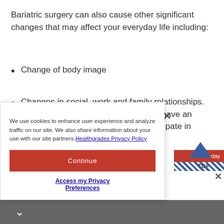Bariatric surgery can also cause other significant changes that may affect your everyday life including:
Change of body image
Changes in social, work and family relationships. As you lose weight, you will probably have an increase in energy and ability to participate in everyday activities, [partially obscured] work [partially obscured] ases [partially obscured] sease
We use cookies to enhance user experience and analyze traffic on our site. We also share information about your use with our site partners. Healthgrades Privacy Policy
Continue
Access my Privacy Preferences